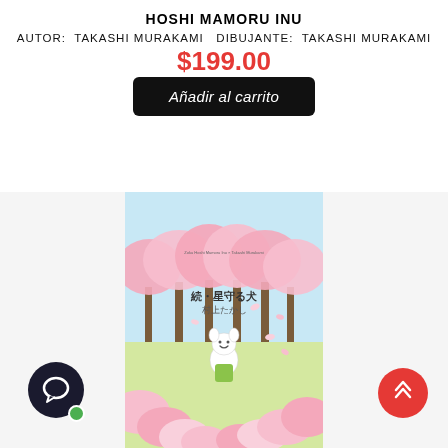HOSHI MAMORU INU
AUTOR:  TAKASHI MURAKAMI   DIBUJANTE:  TAKASHI MURAKAMI
$199.00
Añadir al carrito
[Figure (illustration): Book cover of 続・星守る犬 (Hoshi Mamoru Inu) by 村上たかし (Murakami Takashi), featuring a white cartoon dog standing in a field of pink cherry blossom petals with cherry blossom trees in the background.]